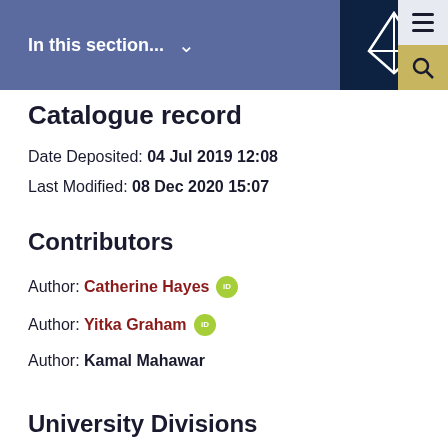In this section...
Catalogue record
Date Deposited: 04 Jul 2019 12:08
Last Modified: 08 Dec 2020 15:07
Contributors
Author: Catherine Hayes [ORCID]
Author: Yitka Graham [ORCID]
Author: Kamal Mahawar
University Divisions